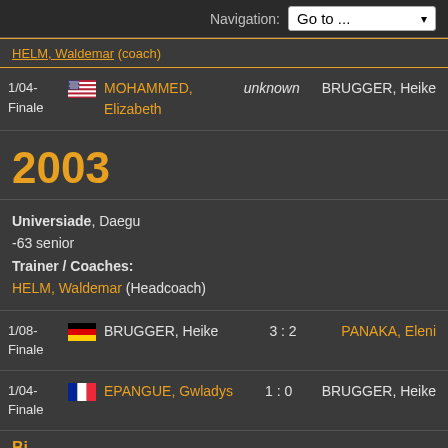Navigation: Go to ...
HELM, Waldemar (coach)
1/04-Finale  MOHAMMED, Elizabeth  unknown  BRUGGER, Heike
2003
Universiade, Daegu
-63 senior
Trainer / Coaches:
HELM, Waldemar (Headcoach)
1/08-Finale  BRUGGER, Heike  3 : 2  PANAKA, Eleni
1/04-Finale  EPANGUE, Gwladys  1 : 0  BRUGGER, Heike
Bi...